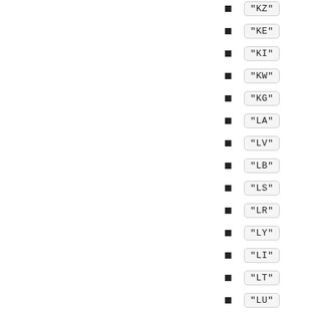"KZ"
"KE"
"KI"
"KW"
"KG"
"LA"
"LV"
"LB"
"LS"
"LR"
"LY"
"LI"
"LT"
"LU"
"MO"
"MK"